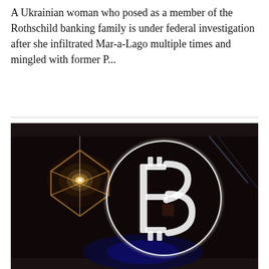A Ukrainian woman who posed as a member of the Rothschild banking family is under federal investigation after she infiltrated Mar-a-Lago multiple times and mingled with former P...
[Figure (photo): A dark photograph showing an illuminated neon Bitcoin (₿) symbol in a circle, with a glowing geometric pendant lamp in the background against a dark/black background.]